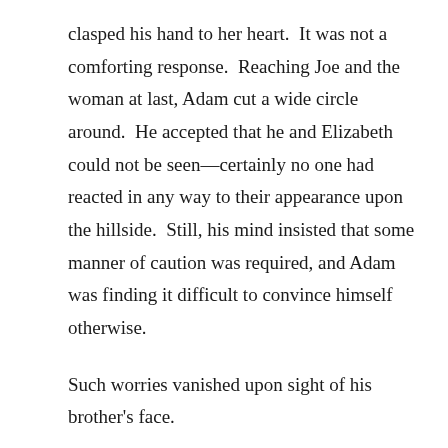clasped his hand to her heart.  It was not a comforting response.  Reaching Joe and the woman at last, Adam cut a wide circle around.  He accepted that he and Elizabeth could not be seen—certainly no one had reacted in any way to their appearance upon the hillside.  Still, his mind insisted that some manner of caution was required, and Adam was finding it difficult to convince himself otherwise.
Such worries vanished upon sight of his brother's face.
He had never seen Joe stand so very still, nor those lively eyes so very bleak.  Adam's youngest brother had lived through his share of disappointment and tragedy—they all had done so—but never before had Adam seen Joe like this …